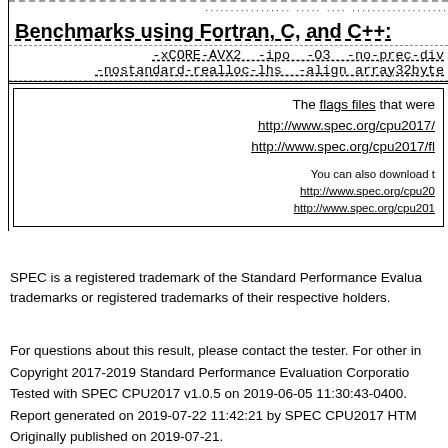Benchmarks using Fortran, C, and C++:
-xCORE-AVX2 -ipo -O3 -no-prec-div -nostandard-realloc-lhs -align array32byte
The flags files that were used to format this result can be found at:
http://www.spec.org/cpu2017/
http://www.spec.org/cpu2017/fl

You can also download the XML flags sources from:
http://www.spec.org/cpu20
http://www.spec.org/cpu201
SPEC is a registered trademark of the Standard Performance Evaluation Corporation. Other product and system names mentioned may be trademarks or registered trademarks of their respective holders.
For questions about this result, please contact the tester. For other information on SPEC CPU2017 results, see www.spec.org/cpu2017.
Copyright 2017-2019 Standard Performance Evaluation Corporation
Tested with SPEC CPU2017 v1.0.5 on 2019-06-05 11:30:43-0400.
Report generated on 2019-07-22 11:42:21 by SPEC CPU2017 HTML formatter v1.01.
Originally published on 2019-07-21.